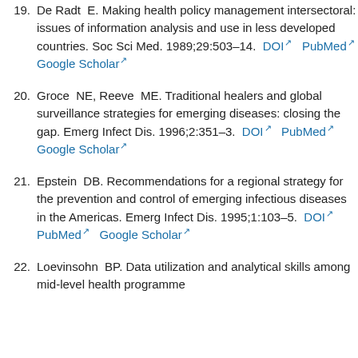19. De Radt E. Making health policy management intersectoral: issues of information analysis and use in less developed countries. Soc Sci Med. 1989;29:503–14. DOI PubMed Google Scholar
20. Groce NE, Reeve ME. Traditional healers and global surveillance strategies for emerging diseases: closing the gap. Emerg Infect Dis. 1996;2:351–3. DOI PubMed Google Scholar
21. Epstein DB. Recommendations for a regional strategy for the prevention and control of emerging infectious diseases in the Americas. Emerg Infect Dis. 1995;1:103–5. DOI PubMed Google Scholar
22. Loevinsohn BP. Data utilization and analytical skills among mid-level health programme